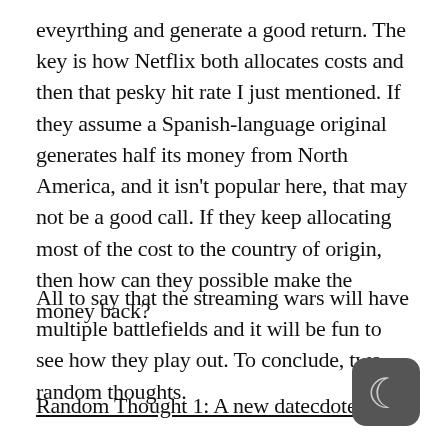eveyrthing and generate a good return. The key is how Netflix both allocates costs and then that pesky hit rate I just mentioned. If they assume a Spanish-language original generates half its money from North America, and it isn't popular here, that may not be a good call. If they keep allocating most of the cost to the country of origin, then how can they possible make the money back?
All to say that the streaming wars will have multiple battlefields and it will be fun to see how they play out. To conclude, two random thoughts.
Random Thought 1: A new datecdote!